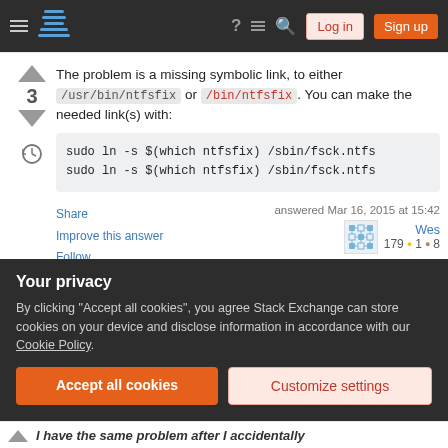Stack Exchange navigation bar with Log in and Sign up buttons
The problem is a missing symbolic link, to either /usr/bin/ntfsfix or /bin/ntfsfix. You can make the needed link(s) with:
sudo ln -s $(which ntfsfix) /sbin/fsck.ntfs
sudo ln -s $(which ntfsfix) /sbin/fsck.ntfs
Share
Improve this answer
Follow
answered Mar 16, 2015 at 15:42
Wes
179 ●1 ●8
Your privacy
By clicking "Accept all cookies", you agree Stack Exchange can store cookies on your device and disclose information in accordance with our Cookie Policy.
Accept all cookies   Customize settings
I have the same problem after I accidentally